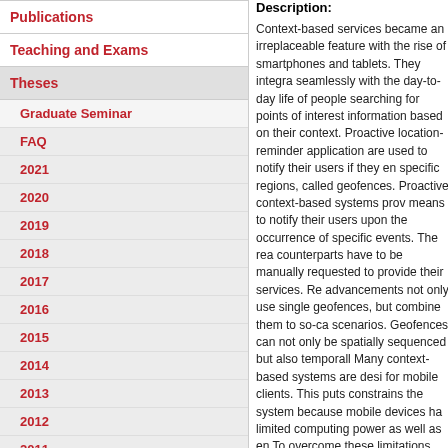Publications
Teaching and Exams
Theses
Graduate Seminar
FAQ
2021
2020
2019
2018
2017
2016
2015
2014
2013
2012
2011
2010
Description:
Context-based services became an irreplaceable feature with the rise of smartphones and tablets. They integrate seamlessly with the day-to-day life of people searching for points of interest information based on their context. Proactive location-reminder applications are used to notify their users if they enter specific regions, called geofences. Proactive context-based systems provide means to notify their users upon the occurrence of specific events. The reactive counterparts have to be manually requested to provide their services. Recent advancements not only use single geofences, but combine them to so-called scenarios. Geofences can not only be spatially sequenced but also temporally. Many context-based systems are designed for mobile clients. This puts constraints on the system because mobile devices have limited computing power as well as energy. To overcome these limitations new architectural designs were created that move parts or all of the processing of context to the infrastructure. The design and implementation of a proactive, context-based messaging system is the goal of